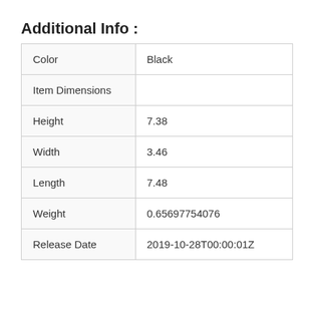Additional Info :
| Color | Black |
| Item Dimensions |  |
| Height | 7.38 |
| Width | 3.46 |
| Length | 7.48 |
| Weight | 0.65697754076 |
| Release Date | 2019-10-28T00:00:01Z |